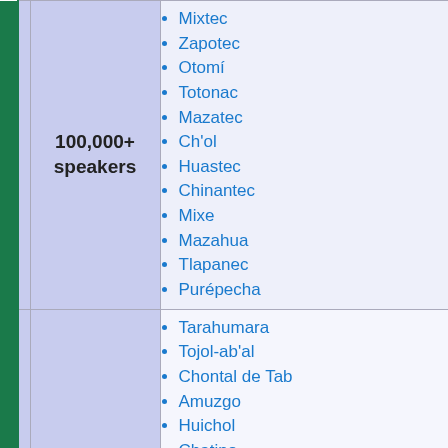Mixtec
Zapotec
Otomí
Totonac
Mazatec
Ch'ol
Huastec
Chinantec
Mixe
Mazahua
Tlapanec
Purépecha
100,000+ speakers
Tarahumara
Tojol-ab'al
Chontal de Tab
Amuzgo
Huichol
Chatino
Sierra Popoluca
Mayo
Tepehuán
Triqui
10,000-100,000 speakers